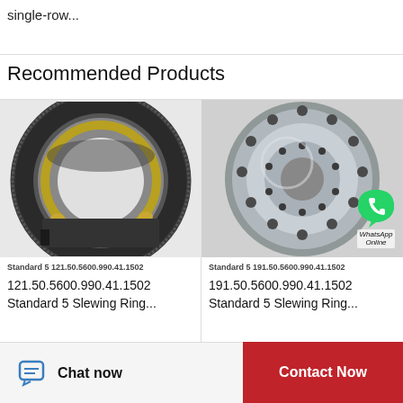single-row...
Recommended Products
[Figure (photo): Slewing ring bearing (Standard 5 121.50.5600.990.41.1502) - dark metallic toothed outer ring with roller elements visible]
Standard 5 121.50.5600.990.41.1502
121.50.5600.990.41.1502 Standard 5 Slewing Ring...
[Figure (photo): Slewing ring bearing (Standard 5 191.50.5600.990.41.1502) - silver/grey machined ring with bolt holes, WhatsApp Online overlay]
Standard 5 191.50.5600.990.41.1502
191.50.5600.990.41.1502 Standard 5 Slewing Ring...
Chat now
Contact Now